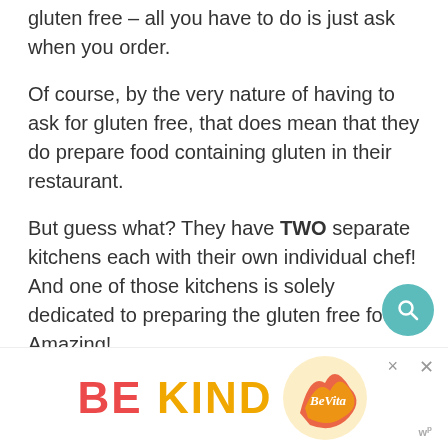gluten free – all you have to do is just ask when you order.
Of course, by the very nature of having to ask for gluten free, that does mean that they do prepare food containing gluten in their restaurant.
But guess what? They have TWO separate kitchens each with their own individual chef! And one of those kitchens is solely dedicated to preparing the gluten free food. Amazing!
So that's already a massive tick in terms of cross contamination.
[Figure (infographic): BE KIND advertisement banner with decorative floral/script logo, close buttons, and a W superscript logo]